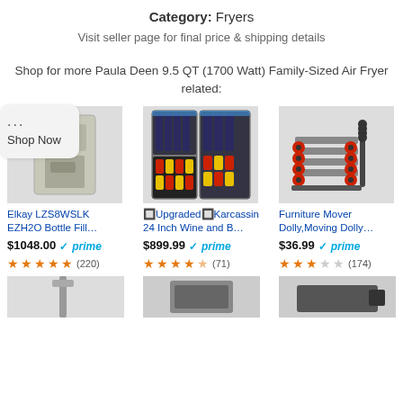Category: Fryers
Visit seller page for final price & shipping details
Shop for more Paula Deen 9.5 QT (1700 Watt) Family-Sized Air Fryer related:
Shop Now
[Figure (photo): Elkay LZS8WSLK EZH2O Bottle Fill... product image]
Elkay LZS8WSLK EZH2O Bottle Fill...
$1048.00 prime (220)
[Figure (photo): Upgraded Karcassin 24 Inch Wine and B... product image]
🔲Upgraded🔲Karcassin 24 Inch Wine and B...
$899.99 prime (71)
[Figure (photo): Furniture Mover Dolly, Moving Dolly... product image]
Furniture Mover Dolly,Moving Dolly...
$36.99 prime (174)